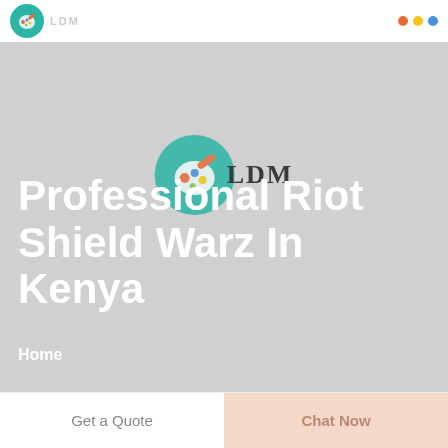LDM [logo] | [navigation icons]
[Figure (logo): Circular teal logo with paintbrush/palette icon and LDM text overlay, watermarked in hero background]
Professional Riot Shield Warz In Kenya
Home
Get a Quote
Chat Now